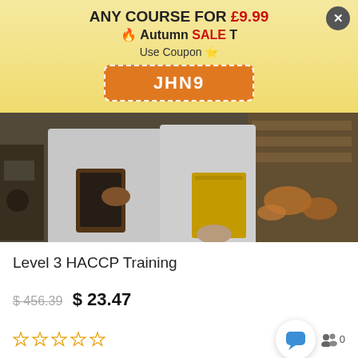ANY COURSE FOR £9.99
🔥 Autumn SALE T
Use Coupon ⭐
JHN9
[Figure (photo): Two food industry workers in white coats, one holding a tablet and the other holding a yellow folder, in a factory/kitchen setting]
Level 3 HACCP Training
$ 456.39  $ 23.47
★★★★★ (0 students)
View More